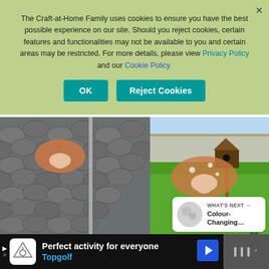The Craft-at-Home Family uses cookies to ensure you have the best possible experience on our site. Should you reject cookies, certain features and functionalities may not be available to you and certain areas may be restricted. For more details, please view Privacy Policy and our Cookie Policy.
[Figure (screenshot): Cookie consent overlay with OK and Reject Cookies buttons on a light green background]
[Figure (photo): Split photo showing roof gutters with terracotta mushroom decorations on the left and a garden with a birdhouse on the right]
[Figure (screenshot): What's Next panel showing Colour-Changing... content thumbnail]
[Figure (screenshot): Topgolf advertisement bar at bottom: Perfect activity for everyone, Topgolf]